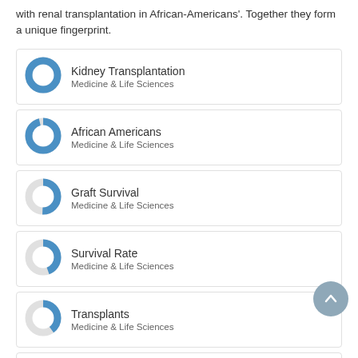with renal transplantation in African-Americans'. Together they form a unique fingerprint.
Kidney Transplantation — Medicine & Life Sciences
African Americans — Medicine & Life Sciences
Graft Survival — Medicine & Life Sciences
Survival Rate — Medicine & Life Sciences
Transplants — Medicine & Life Sciences
Cadaver — Medicine & Life Sciences